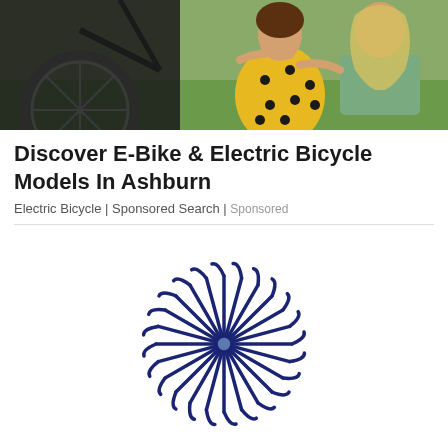[Figure (photo): Photo of a person in yellow polka-dot dress and a person in green top with a black bicycle, outdoors on grass]
Discover E-Bike & Electric Bicycle Models In Ashburn
Electric Bicycle | Sponsored Search | Sponsored
[Figure (logo): Hockey India logo: dark navy blue circular emblem made of hockey sticks arranged radially like a sunburst/Ashoka Chakra, with text HOCKEY INDIA below]